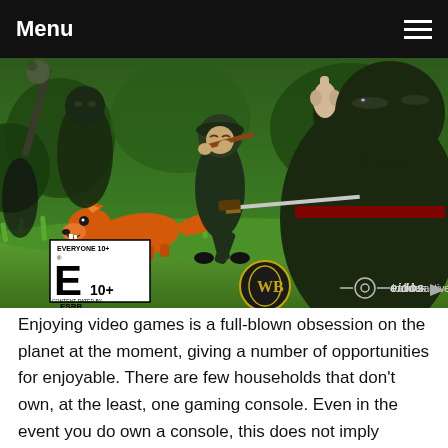Menu
[Figure (illustration): Video game cover art for Mini Ninjas showing cartoon ninja characters in a forest setting with a fox, Warner Bros, Io-Interactive, and Eidos logos, and ESRB rating E10+]
Enjoying video games is a full-blown obsession on the planet at the moment, giving a number of opportunities for enjoyable. There are few households that don't own, at the least, one gaming console. Even in the event you do own a console, this does not imply